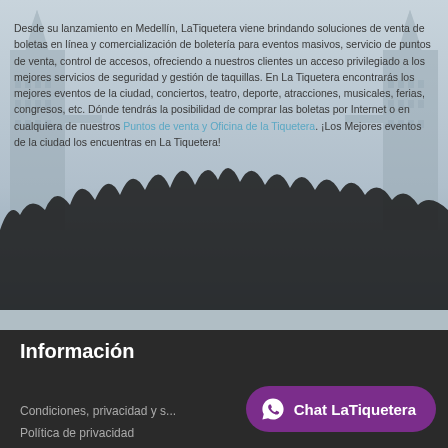[Figure (illustration): Background image showing two tall tower/building silhouettes under a light blue-grey sky, with a large crowd silhouette in the foreground with raised hands]
Desde su lanzamiento en Medellín, LaTiquetera viene brindando soluciones de venta de boletas en línea y comercialización de boletería para eventos masivos, servicio de puntos de venta, control de accesos, ofreciendo a nuestros clientes un acceso privilegiado a los mejores servicios de seguridad y gestión de taquillas. En La Tiquetera encontrarás los mejores eventos de la ciudad, conciertos, teatro, deporte, atracciones, musicales, ferias, congresos, etc. Dónde tendrás la posibilidad de comprar las boletas por Internet o en cualquiera de nuestros Puntos de venta y Oficina de la Tiquetera. ¡Los Mejores eventos de la ciudad los encuentras en La Tiquetera!
Información
Condiciones, privacidad y s...
Política de privacidad
[Figure (other): WhatsApp chat button with WhatsApp icon and text 'Chat LaTiquetera' on a purple/magenta rounded rectangle button]